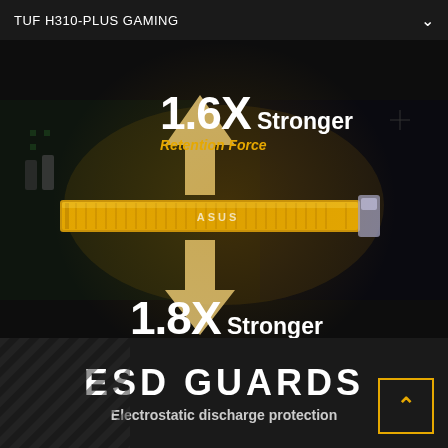TUF H310-PLUS GAMING
[Figure (photo): ASUS TUF motherboard PCIe slot shown in golden color with glowing effect, two large arrows (one pointing up, one pointing down) indicating retention force and shearing test directions. The motherboard slot is reinforced and highlighted in gold/amber.]
1.6X Stronger Retention Force
1.8X Stronger Shearing Test
ESD GUARDS
Electrostatic discharge protection